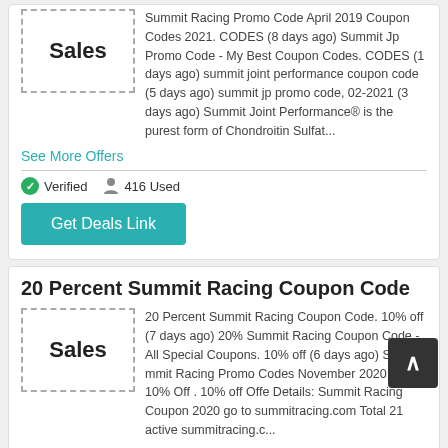Summit Racing Promo Code April 2019 Coupon Codes 2021. CODES (8 days ago) Summit Jp Promo Code - My Best Coupon Codes. CODES (1 days ago) summit joint performance coupon code (5 days ago) summit jp promo code, 02-2021 (3 days ago) Summit Joint Performance® is the purest form of Chondroitin Sulfat...
See More Offers
Verified   416 Used
Get Deals Link
20 Percent Summit Racing Coupon Code
20 Percent Summit Racing Coupon Code. 10% off (7 days ago) 20% Summit Racing Coupon Code - All Special Coupons. 10% off (6 days ago) Su. mmit Racing Promo Codes November 2020: get 10% Off . 10% off Offe Details: Summit Racing Coupon 2020 go to summitracing.com Total 21 active summitracing.c...
See More Offers
Verified   633 Used